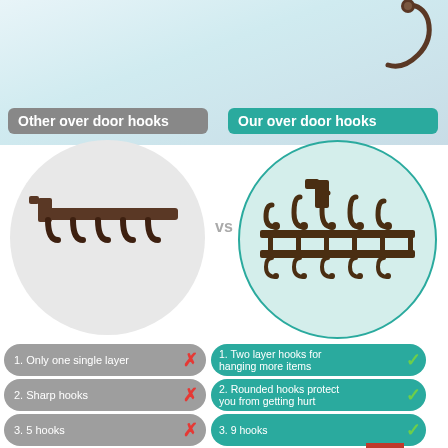[Figure (infographic): Comparison infographic of other over door hooks vs our over door hooks. Left side shows a simple hook rack in a gray circle; right side shows a two-layer hook rack in a teal circle. VS separator between them.]
Other over door hooks
Our over door hooks
1. Only one single layer ✗
1. Two layer hooks for hanging more items ✓
2. Sharp hooks ✗
2. Rounded hooks protect you from getting hurt ✓
3. 5 hooks ✗
3. 9 hooks ✓
4.Easy to get rust ✗
4. Rustproof & durable ✓
5. Shor... ✗
5. Longer brackets make it...